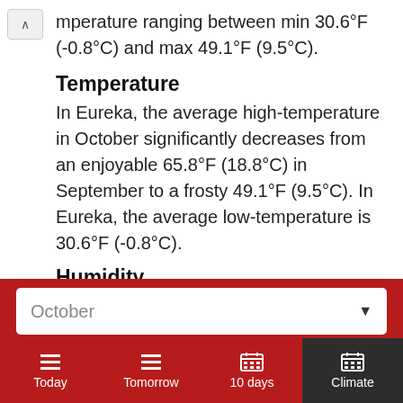mperature ranging between min 30.6°F (-0.8°C) and max 49.1°F (9.5°C).
Temperature
In Eureka, the average high-temperature in October significantly decreases from an enjoyable 65.8°F (18.8°C) in September to a frosty 49.1°F (9.5°C). In Eureka, the average low-temperature is 30.6°F (-0.8°C).
Humidity
October
Today | Tomorrow | 10 days | Climate